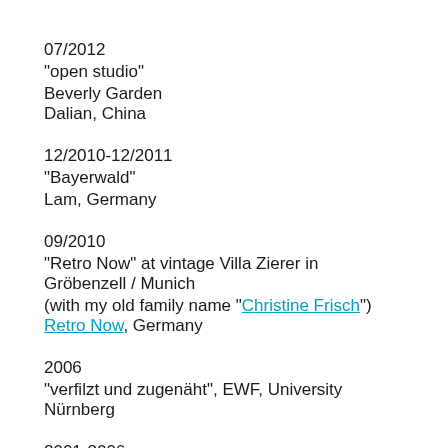07/2012
"open studio"
Beverly Garden
Dalian, China
12/2010-12/2011
"Bayerwald"
Lam, Germany
09/2010
"Retro Now" at vintage Villa Zierer in Gröbenzell / Munich
(with my old family name "Christine Frisch")
Retro Now, Germany
2006
"verfilzt und zugenäht", EWF, University Nürnberg
2001-2006